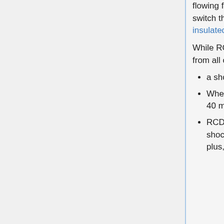flowing from wall cable to drill body, and from there to the user. Neither can it switch this current off. (just as well most drills these days are double insulated)!
While RCDs act on the majority of shock situations, they won't protect you from all of them. Situations they don't protect against:
a shock received by making contact with both live and neutral
When a RCD does operate, it can take up to two cycles of the mains (i.e. 40 msec or even more for low leakage situations).
RCDs don't limit shock current. They have no means to do so. They limit shock time and so the total energy imparted in the shock, which is a real plus, but this does not make shocks "safe".